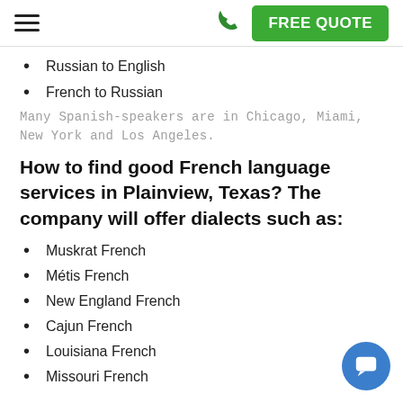FREE QUOTE (navigation bar with hamburger menu and phone icon)
Russian to English
French to Russian
Many Spanish-speakers are in Chicago, Miami, New York and Los Angeles.
How to find good French language services in Plainview, Texas? The company will offer dialects such as:
Muskrat French
Métis French
New England French
Cajun French
Louisiana French
Missouri French